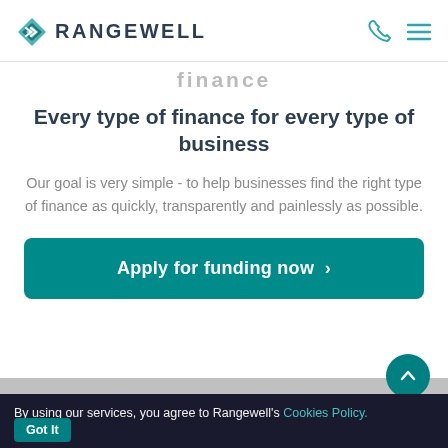RANGEWELL
finance
Every type of finance for every type of business
Our goal is very simple - to help businesses find the right type of finance as quickly, transparently and painlessly as possible.
Apply for funding now >
By using our services, you agree to Rangewell's Cookies Policy. Got It